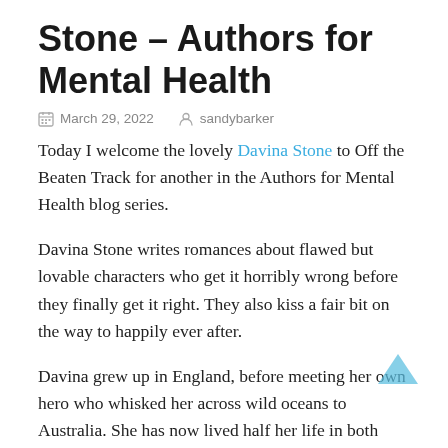Stone – Authors for Mental Health
March 29, 2022   sandybarker
Today I welcome the lovely Davina Stone to Off the Beaten Track for another in the Authors for Mental Health blog series.
Davina Stone writes romances about flawed but lovable characters who get it horribly wrong before they finally get it right. They also kiss a fair bit on the way to happily ever after.
Davina grew up in England, before meeting her own hero who whisked her across wild oceans to Australia. She has now lived half her life in both countries, which has led some to kid...